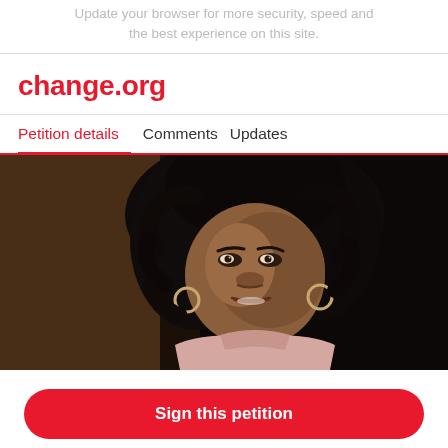Update your browser for more security, speed and the best experience on this site.
change.org
Petition details   Comments   Updates
[Figure (photo): A Black woman with curly hair wearing a light pink turtleneck and hoop earrings, speaking, photographed against a dark background.]
Sign this petition